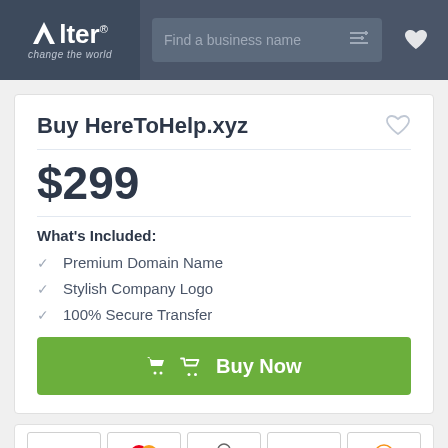[Figure (logo): Alter brand logo with tagline 'change the world' on dark background header with search bar]
Buy HereToHelp.xyz
$299
What's Included:
Premium Domain Name
Stylish Company Logo
100% Secure Transfer
Buy Now
[Figure (other): Payment method icons: VISA, Mastercard, Bank transfer, PayPal, Bitcoin]